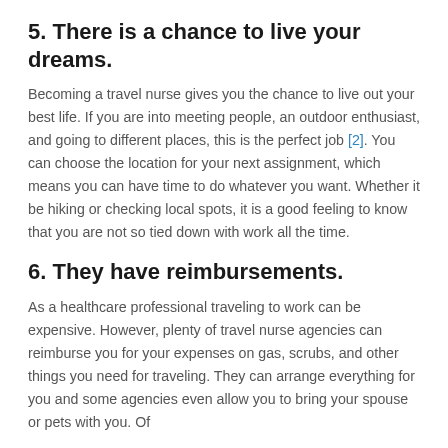5. There is a chance to live your dreams.
Becoming a travel nurse gives you the chance to live out your best life. If you are into meeting people, an outdoor enthusiast, and going to different places, this is the perfect job [2]. You can choose the location for your next assignment, which means you can have time to do whatever you want. Whether it be hiking or checking local spots, it is a good feeling to know that you are not so tied down with work all the time.
6. They have reimbursements.
As a healthcare professional traveling to work can be expensive. However, plenty of travel nurse agencies can reimburse you for your expenses on gas, scrubs, and other things you need for traveling. They can arrange everything for you and some agencies even allow you to bring your spouse or pets with you. Of